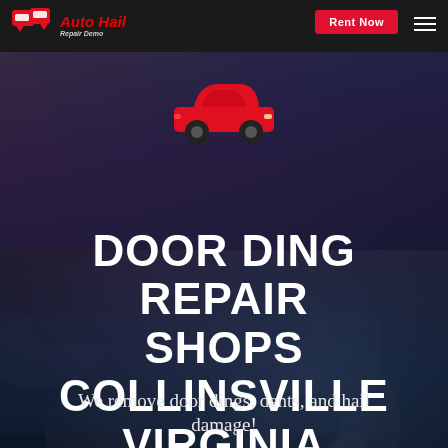Auto Hail Repair Demo — Rent Now
[Figure (illustration): Red car silhouette icon centered on dark hero background with dramatic cloudy sky and car at bottom right]
DOOR DING REPAIR SHOPS COLLINSVILLE VIRGINIA
We remove door dings, dents, and hail damage!